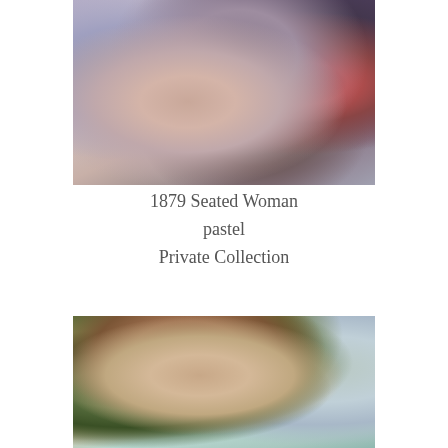[Figure (photo): Close-up detail of 1879 Seated Woman pastel artwork, showing reclining figure with warm skin tones against blue-grey and dark background with red-brown strokes]
1879 Seated Woman
pastel
Private Collection
[Figure (photo): Partial view of a painting showing a young figure with short auburn hair, bare shoulders, set against a green leafy background with blue-grey sky]